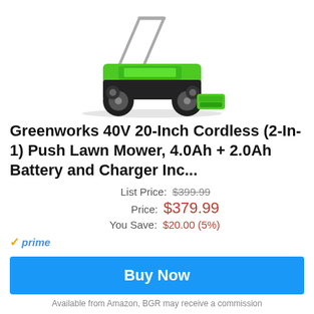[Figure (photo): Green and black Greenworks 40V cordless push lawn mower with batteries shown]
Greenworks 40V 20-Inch Cordless (2-In-1) Push Lawn Mower, 4.0Ah + 2.0Ah Battery and Charger Inc...
List Price: $399.99
Price: $379.99
You Save: $20.00 (5%)
✓prime
Buy Now
Available from Amazon, BGR may receive a commission
[Figure (photo): Black VR headset/goggles partially visible at bottom of page]